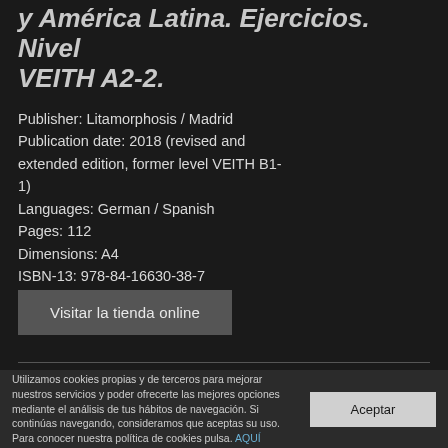y América Latina. Ejercicios. Nivel VEITH A2-2.
Publisher: Litamorphosis / Madrid
Publication date: 2018 (revised and extended edition, former level VEITH B1-1)
Languages: German / Spanish
Pages: 112
Dimensions: A4
ISBN-13: 978-84-16630-38-7
Visitar la tienda online
Utilizamos cookies propias y de terceros para mejorar nuestros servicios y poder ofrecerte las mejores opciones mediante el análisis de tus hábitos de navegación. Si continúas navegando, consideramos que aceptas su uso. Para conocer nuestra política de cookies pulsa. AQUÍ
Aceptar